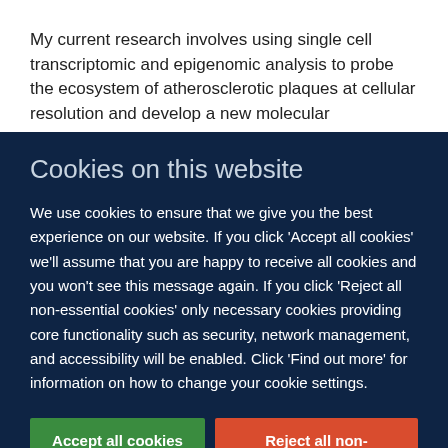My current research involves using single cell transcriptomic and epigenomic analysis to probe the ecosystem of atherosclerotic plaques at cellular resolution and develop a new molecular classification of atherosclerosis
Cookies on this website
We use cookies to ensure that we give you the best experience on our website. If you click 'Accept all cookies' we'll assume that you are happy to receive all cookies and you won't see this message again. If you click 'Reject all non-essential cookies' only necessary cookies providing core functionality such as security, network management, and accessibility will be enabled. Click 'Find out more' for information on how to change your cookie settings.
Accept all cookies
Reject all non-essential cookies
Find out more